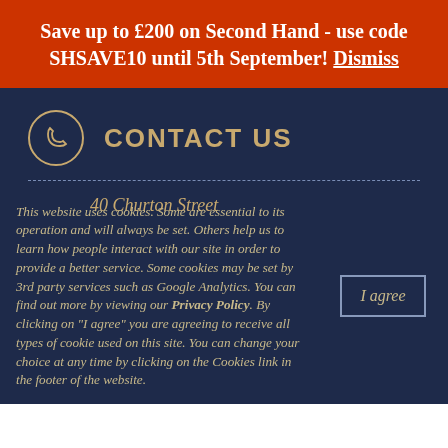Save up to £200 on Second Hand - use code SHSAVE10 until 5th September! Dismiss
CONTACT US
40 Churton Street
This website uses cookies. Some are essential to its operation and will always be set. Others help us to learn how people interact with our site in order to provide a better service. Some cookies may be set by 3rd party services such as Google Analytics. You can find out more by viewing our Privacy Policy. By clicking on "I agree" you are agreeing to receive all types of cookie used on this site. You can change your choice at any time by clicking on the Cookies link in the footer of the website.
I agree